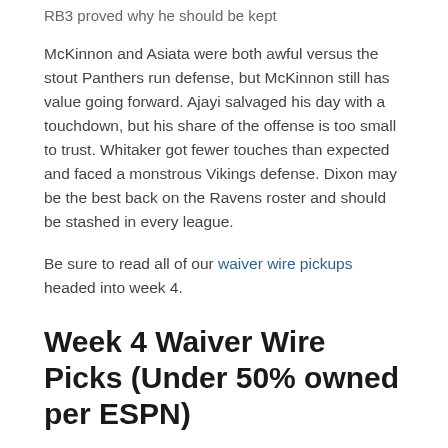RB3 proved why he should be kept
McKinnon and Asiata were both awful versus the stout Panthers run defense, but McKinnon still has value going forward. Ajayi salvaged his day with a touchdown, but his share of the offense is too small to trust. Whitaker got fewer touches than expected and faced a monstrous Vikings defense. Dixon may be the best back on the Ravens roster and should be stashed in every league.
Be sure to read all of our waiver wire pickups headed into week 4.
Week 4 Waiver Wire Picks (Under 50% owned per ESPN)
Dwayne Washington DET 20.4% owned